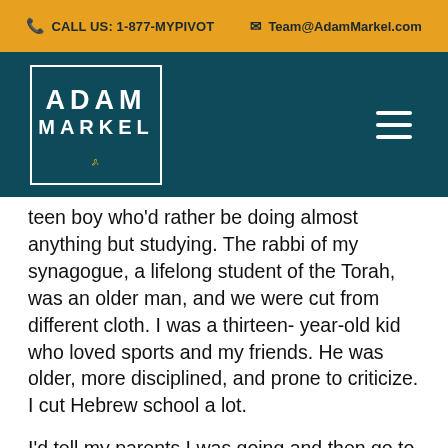CALL US: 1-877-MYPIVOT   Team@AdamMarkel.com
[Figure (logo): Adam Markel logo with name in white text on teal background inside a white border box, with cursive signature below]
teen boy who'd rather be doing almost anything but studying. The rabbi of my synagogue, a lifelong student of the Torah, was an older man, and we were cut from different cloth. I was a thirteen- year-old kid who loved sports and my friends. He was older, more disciplined, and prone to criticize. I cut Hebrew school a lot.
I'd tell my parents I was going and then go to the movies or spend my time doing anything but preparing. To say